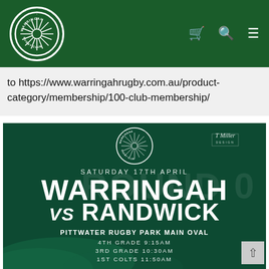[Figure (logo): Warringah Rugby Club logo in circular badge with white border on dark green header bar, with cart, search, and menu icons on the right]
to https://www.warringahrugby.com.au/product-category/membership/100-club-membership/
[Figure (infographic): Match promotion graphic on dark green background: Warringah Rugby Club circular logo at top, 'T Miller Design' branding top right, 'ROUND 0' watermark text, 'SATURDAY 17TH APRIL' subtitle, large text 'WARRINGAH VS RANDWICK', venue 'PITTWATER RUGBY PARK MAIN OVAL', schedule listing 4TH GRADE 9:15AM, 3RD GRADE 10:30AM, 1ST COLTS 11:50AM with smoke/fog effect at bottom]